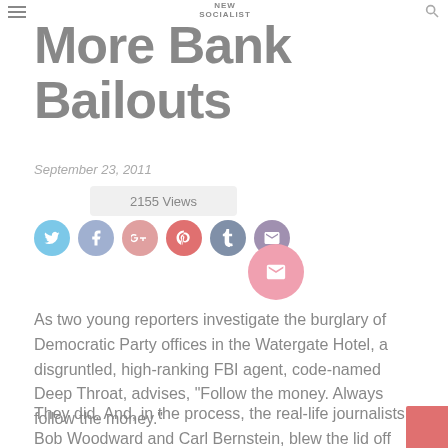NEW SOCIALIST
More Bank Bailouts
September 23, 2011
2155 Views
[Figure (other): Social media share buttons: Twitter, Facebook, Google+, Pinterest, Tumblr, Email, and a larger share button]
As two young reporters investigate the burglary of Democratic Party offices in the Watergate Hotel, a disgruntled, high-ranking FBI agent, code-named Deep Throat, advises, "Follow the money. Always follow the money."
They did. And, in the process, the real-life journalists, Bob Woodward and Carl Bernstein, blew the lid off one